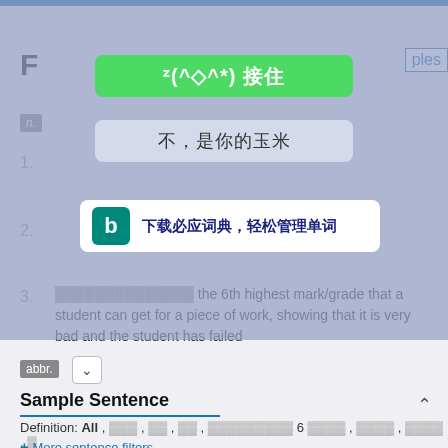F
ples
n.
[Figure (screenshot): Overlay UI panel with green button 'ᵛ(^◇^*) 接住', light button '不，是你的玉米', and Bing dictionary banner '下载必应词典，轻松管理单词']
3. the 6th highest mark/grade that a student can get for a piece of work, showing that it is very bad and the student has failed
abbr.
Sample Sentence
Definition: All , ... , ... , ... , .......... 6 .... , ..... , ..... , .
+ More sentence filters
1. Picasso's masterpiece was the heart of a collection consigned by the heirs of Mrs Sidney F. Brody.
bì jiā suǒ de zhè fū míng huà shì xīn dí F· bù luó dí fū rén de jì